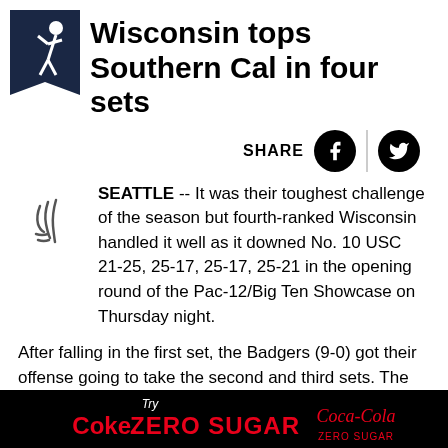[Figure (logo): Sports logo with white figure on dark navy/blue pennant shape]
Wisconsin tops Southern Cal in four sets
[Figure (illustration): Decorative drop-cap style handwritten/brushstroke letter marks]
SEATTLE -- It was their toughest challenge of the season but fourth-ranked Wisconsin handled it well as it downed No. 10 USC 21-25, 25-17, 25-17, 25-21 in the opening round of the Pac-12/Big Ten Showcase on Thursday night.
After falling in the first set, the Badgers (9-0) got their offense going to take the second and third sets. The Trojans came out strong in the fourth set, taking a 17-12 lead. Trailing 20-16
[Figure (infographic): Black advertisement banner: Try Coke. ZERO SUGAR with Coca-Cola Zero Sugar logo]